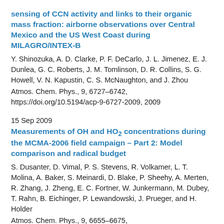sensing of CCN activity and links to their organic mass fraction: airborne observations over Central Mexico and the US West Coast during MILAGRO/INTEX-B
Y. Shinozuka, A. D. Clarke, P. F. DeCarlo, J. L. Jimenez, E. J. Dunlea, G. C. Roberts, J. M. Tomlinson, D. R. Collins, S. G. Howell, V. N. Kapustin, C. S. McNaughton, and J. Zhou
Atmos. Chem. Phys., 9, 6727–6742, https://doi.org/10.5194/acp-9-6727-2009, 2009
15 Sep 2009
Measurements of OH and HO2 concentrations during the MCMA-2006 field campaign – Part 2: Model comparison and radical budget
S. Dusanter, D. Vimal, P. S. Stevens, R. Volkamer, L. T. Molina, A. Baker, S. Meinardi, D. Blake, P. Sheehy, A. Merten, R. Zhang, J. Zheng, E. C. Fortner, W. Junkermann, M. Dubey, T. Rahn, B. Eichinger, P. Lewandowski, J. Prueger, and H. Holder
Atmos. Chem. Phys., 9, 6655–6675,